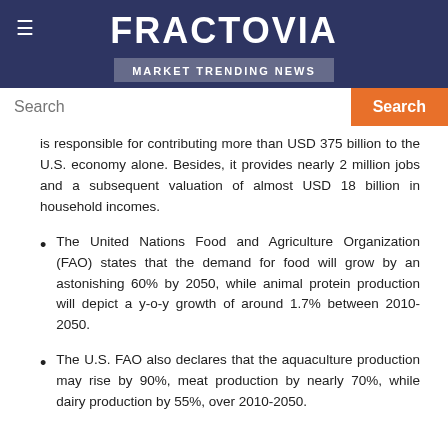FRACTOVIA
MARKET TRENDING NEWS
is responsible for contributing more than USD 375 billion to the U.S. economy alone. Besides, it provides nearly 2 million jobs and a subsequent valuation of almost USD 18 billion in household incomes.
The United Nations Food and Agriculture Organization (FAO) states that the demand for food will grow by an astonishing 60% by 2050, while animal protein production will depict a y-o-y growth of around 1.7% between 2010-2050.
The U.S. FAO also declares that the aquaculture production may rise by 90%, meat production by nearly 70%, while dairy production by 55%, over 2010-2050.